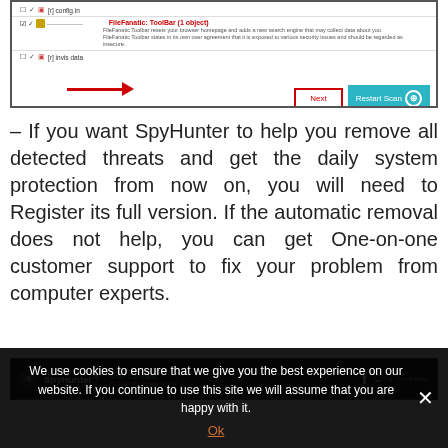[Figure (screenshot): SpyHunter scan results window showing FileFanatic Toolbar threat detected, with a red arrow pointing to a 'Next' button and a 'Restart Scan' button]
– If you want SpyHunter to help you remove all detected threats and get the daily system protection from now on, you will need to Register its full version. If the automatic removal does not help, you can get One-on-one customer support to fix your problem from computer experts.
[Figure (screenshot): SpyHunter 5 application window showing 'Scan Complete' with '41 Security Issues Found' status bar]
We use cookies to ensure that we give you the best experience on our website. If you continue to use this site we will assume that you are happy with it.
Ok